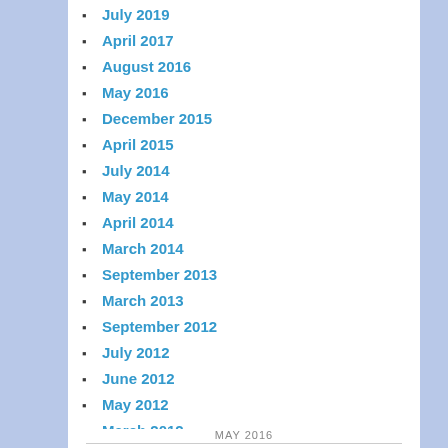July 2019
April 2017
August 2016
May 2016
December 2015
April 2015
July 2014
May 2014
April 2014
March 2014
September 2013
March 2013
September 2012
July 2012
June 2012
May 2012
March 2012
December 2011
November 2011
MAY 2016